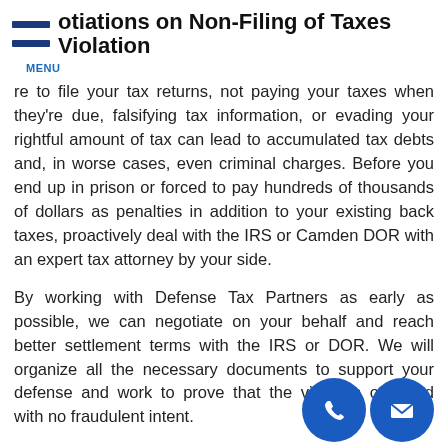otiations on Non-Filing of Taxes Violation
re to file your tax returns, not paying your taxes when they're due, falsifying tax information, or evading your rightful amount of tax can lead to accumulated tax debts and, in worse cases, even criminal charges. Before you end up in prison or forced to pay hundreds of thousands of dollars as penalties in addition to your existing back taxes, proactively deal with the IRS or Camden DOR with an expert tax attorney by your side.
By working with Defense Tax Partners as early as possible, we can negotiate on your behalf and reach better settlement terms with the IRS or DOR. We will organize all the necessary documents to support your defense and work to prove that the violation occurred with no fraudulent intent.
We will also ensure that you won't suffer the maximum penalty and avoid any jail time as much as possible, and if paying your tax liabilities in full will prove to be financially